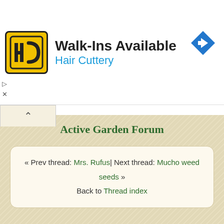[Figure (advertisement): Hair Cuttery advertisement banner with logo, 'Walk-Ins Available' text, 'Hair Cuttery' subtitle in blue, and a blue diamond arrow icon on the right.]
Active Garden Forum
« Prev thread: Mrs. Rufus| Next thread: Mucho weed seeds »
Back to Thread index